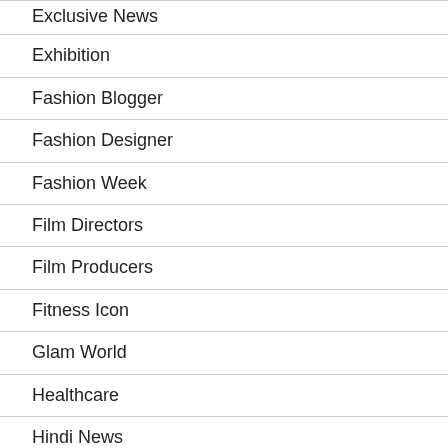Exclusive News
Exhibition
Fashion Blogger
Fashion Designer
Fashion Week
Film Directors
Film Producers
Fitness Icon
Glam World
Healthcare
Hindi News
IAWA